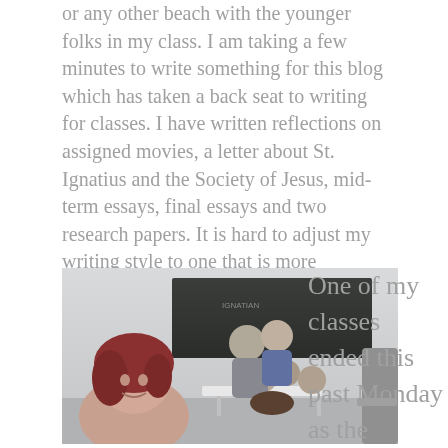or any other beach with the younger folks in my class. I am taking a few minutes to write something for this blog which has taken a back seat to writing for classes. I have written reflections on assigned movies, a letter about St. Ignatius and the Society of Jesus, mid-term essays, final essays and two research papers. It is hard to adjust my writing style to one that is more academic, but I am giving it my best shot!
[Figure (photo): Group selfie photo of students in a classroom with a chalkboard in the background. A young woman with reddish hair smiles in the foreground, with several other students grouped behind her around a desk.]
One of my classes ended this past Monday as the